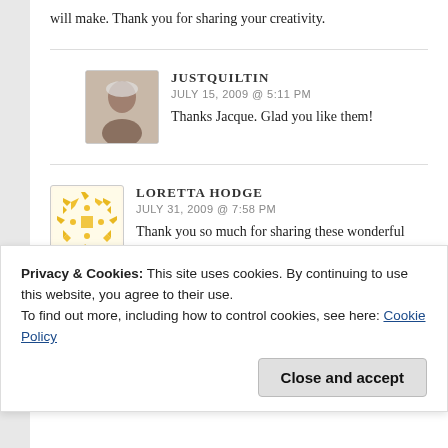will make. Thank you for sharing your creativity.
JUSTQUILTIN
JULY 15, 2009 @ 5:11 PM
Thanks Jacque. Glad you like them!
LORETTA HODGE
JULY 31, 2009 @ 7:58 PM
Thank you so much for sharing these wonderful desi…
JUANITA
Privacy & Cookies: This site uses cookies. By continuing to use this website, you agree to their use.
To find out more, including how to control cookies, see here: Cookie Policy
Close and accept